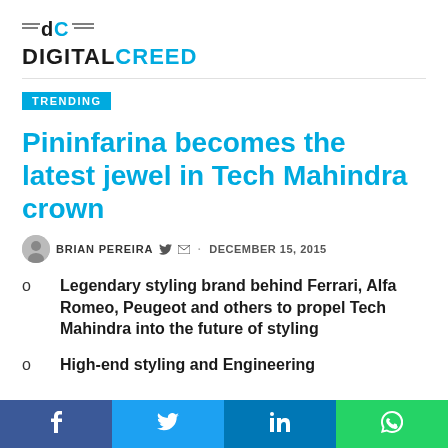DIGITAL CREED
TRENDING
Pininfarina becomes the latest jewel in Tech Mahindra crown
BRIAN PEREIRA · DECEMBER 15, 2015
Legendary styling brand behind Ferrari, Alfa Romeo, Peugeot and others to propel Tech Mahindra into the future of styling
High-end styling and Engineering